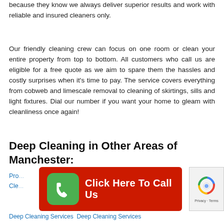because they know we always deliver superior results and work with reliable and insured cleaners only.
Our friendly cleaning crew can focus on one room or clean your entire property from top to bottom. All customers who call us are eligible for a free quote as we aim to spare them the hassles and costly surprises when it’s time to pay. The service covers everything from cobweb and limescale removal to cleaning of skirtings, sills and light fixtures. Dial our number if you want your home to gleam with cleanliness once again!
Deep Cleaning in Other Areas of Manchester:
Pro... Cle... Deep Cleaning Services Deep Cleaning Services
[Figure (other): Red call-to-action banner with green phone icon and text 'Click Here To Call Us']
[Figure (other): reCAPTCHA widget showing spinning arrows logo with 'Privacy - Terms' text]